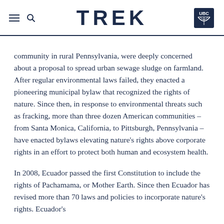TREK
community in rural Pennsylvania, were deeply concerned about a proposal to spread urban sewage sludge on farmland. After regular environmental laws failed, they enacted a pioneering municipal bylaw that recognized the rights of nature. Since then, in response to environmental threats such as fracking, more than three dozen American communities – from Santa Monica, California, to Pittsburgh, Pennsylvania – have enacted bylaws elevating nature's rights above corporate rights in an effort to protect both human and ecosystem health.
In 2008, Ecuador passed the first Constitution to include the rights of Pachamama, or Mother Earth. Since then Ecuador has revised more than 70 laws and policies to incorporate nature's rights. Ecuador's